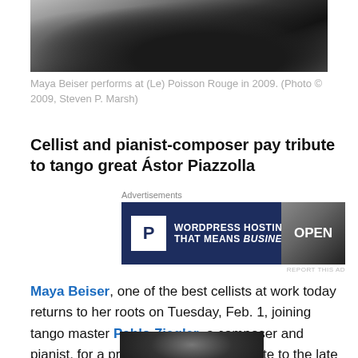[Figure (photo): Partial photo of Maya Beiser performing, dark background with hands visible]
Maya Beiser performs at (Le) Poisson Rouge in 2009. (Photo © 2009, Steven P. Marsh)
Cellist and pianist-composer pay tribute to tango great Ástor Piazzolla
[Figure (other): Advertisement: WordPress Hosting That Means Business.]
Maya Beiser, one of the best cellists at work today returns to her roots on Tuesday, Feb. 1, joining tango master Pablo Ziegler, a composer and pianist, for a program of tangos in tribute to the late Ástor Piazzolla.
[Figure (photo): Partial photo at bottom of page, dark image]